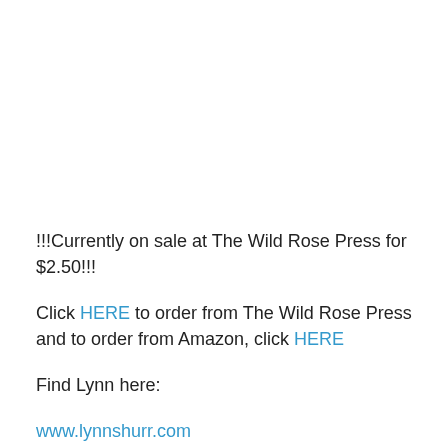!!!Currently on sale at The Wild Rose Press for $2.50!!!
Click HERE to order from The Wild Rose Press and to order from Amazon, click HERE
Find Lynn here:
www.lynnshurr.com